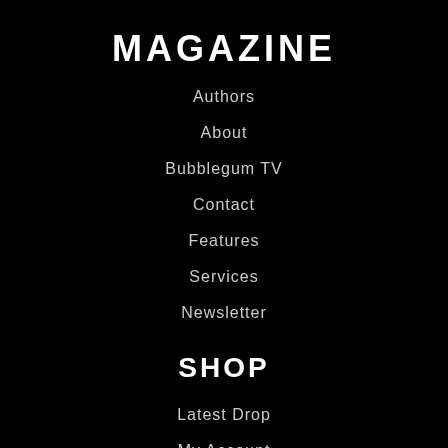MAGAZINE
Authors
About
Bubblegum TV
Contact
Features
Services
Newsletter
SHOP
Latest Drop
My Account